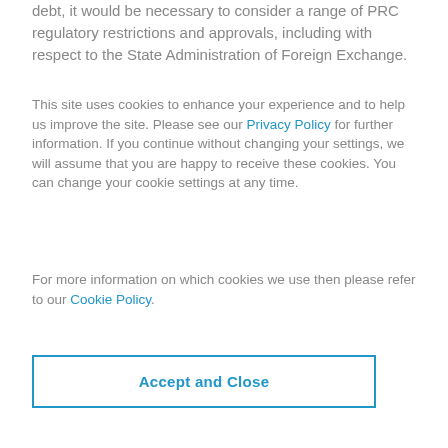debt, it would be necessary to consider a range of PRC regulatory restrictions and approvals, including with respect to the State Administration of Foreign Exchange.
This site uses cookies to enhance your experience and to help us improve the site. Please see our Privacy Policy for further information. If you continue without changing your settings, we will assume that you are happy to receive these cookies. You can change your cookie settings at any time.
For more information on which cookies we use then please refer to our Cookie Policy.
Accept and Close